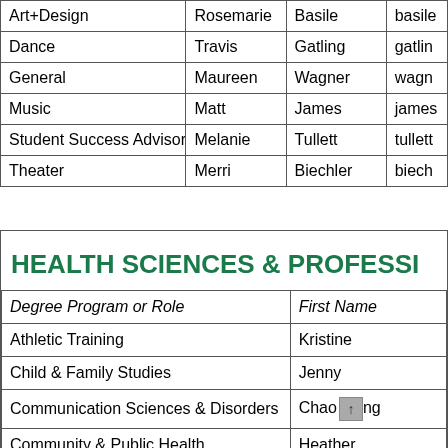| Degree Program or Role | First Name | Last Name | Email |
| --- | --- | --- | --- |
| Art+Design | Rosemarie | Basile | basile |
| Dance | Travis | Gatling | gatlin |
| General | Maureen | Wagner | wagn |
| Music | Matt | James | james |
| Student Success Advisor | Melanie | Tullett | tullett |
| Theater | Merri | Biechler | biech |
HEALTH SCIENCES & PROFESSI
| Degree Program or Role | First Name |
| --- | --- |
| Athletic Training | Kristine |
| Child & Family Studies | Jenny |
| Communication Sciences & Disorders | Chao-ng |
| Community & Public Health | Heather |